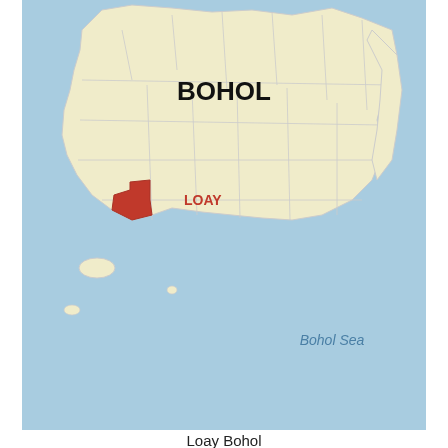[Figure (map): Map of Bohol province showing municipal boundaries. Loay municipality is highlighted in red/dark red in the southern area. Label 'BOHOL' appears in bold at center-top. Label 'LOAY' in red to the right of the highlighted area. 'Bohol Sea' labeled in italic at bottom right. Background is light blue (sea).]
Loay Bohol
[Figure (map): Map of Luzon island in the Philippines showing regional boundaries in red outline on peach/orange fill. 'LUZON' labeled in bold at center-left. 'Philippine Sea' labeled in italic at right. 'South China Sea' labeled in italic at left. Background is light blue (sea). Small islands visible at top and bottom.]